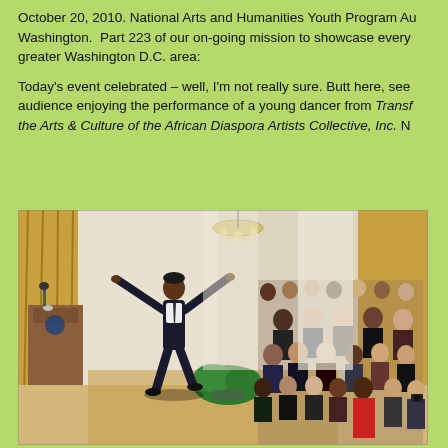October 20, 2010. National Arts and Humanities Youth Program Aw Washington.  Part 223 of our on-going mission to showcase every greater Washington D.C. area:

Today's event celebrated – well, I'm not really sure. Butt here, see audience enjoying the performance of a young dancer from Transf the Arts & Culture of the African Diaspora Artists Collective, Inc. N
[Figure (photo): A young male dancer mid-leap in a formal room (appears to be the White House East Room), wearing a dark suit, with arms outstretched. A large seated audience watches from the right, with gold curtains, a chandelier, and a podium with the presidential seal visible on the left.]